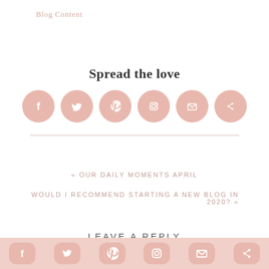Blog Content
Spread the love
[Figure (infographic): Six circular social sharing icons in dusty pink: Facebook, Twitter, Pinterest, Instagram, Email, Share]
« OUR DAILY MOMENTS APRIL
WOULD I RECOMMEND STARTING A NEW BLOG IN 2020? »
LEAVE A REPLY
[Figure (infographic): Bottom bar with six rounded-rectangle social sharing icons in dusty pink: Facebook, Twitter, Pinterest, Instagram, Email, Share]